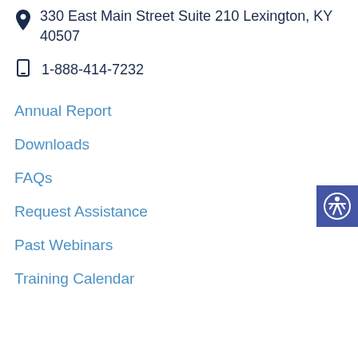330 East Main Street Suite 210 Lexington, KY 40507
1-888-414-7232
Annual Report
Downloads
FAQs
Request Assistance
Past Webinars
Training Calendar
[Figure (illustration): Accessibility icon button - person with arms outstretched inside a circle, on a dark blue/purple square background]